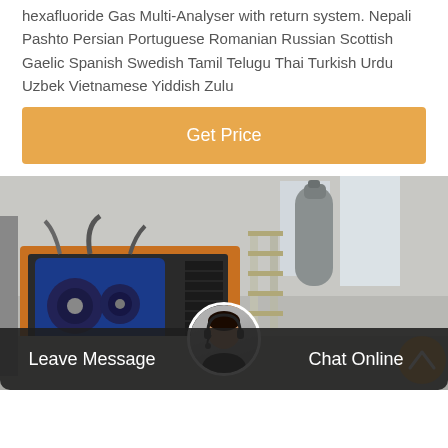hexafluoride Gas Multi-Analyser with return system. Nepali Pashto Persian Portuguese Romanian Russian Scottish Gaelic Spanish Swedish Tamil Telugu Thai Turkish Urdu Uzbek Vietnamese Yiddish Zulu
Get Price
[Figure (photo): Industrial machine equipment — appears to be a gas analyser or compressor unit with orange metal frame, blue motor/pump components, and cylindrical tank in background, inside a factory/warehouse setting.]
Leave Message
Chat Online